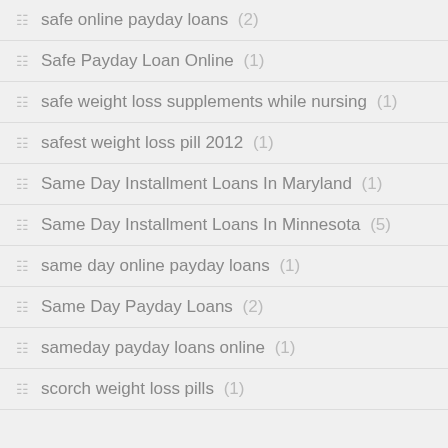safe online payday loans (2)
Safe Payday Loan Online (1)
safe weight loss supplements while nursing (1)
safest weight loss pill 2012 (1)
Same Day Installment Loans In Maryland (1)
Same Day Installment Loans In Minnesota (5)
same day online payday loans (1)
Same Day Payday Loans (2)
sameday payday loans online (1)
scorch weight loss pills (1)